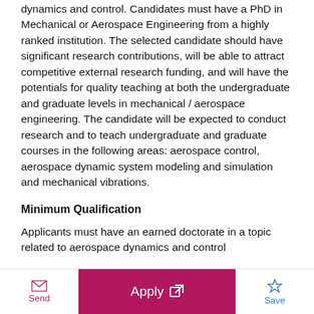dynamics and control. Candidates must have a PhD in Mechanical or Aerospace Engineering from a highly ranked institution. The selected candidate should have significant research contributions, will be able to attract competitive external research funding, and will have the potentials for quality teaching at both the undergraduate and graduate levels in mechanical / aerospace engineering. The candidate will be expected to conduct research and to teach undergraduate and graduate courses in the following areas: aerospace control, aerospace dynamic system modeling and simulation and mechanical vibrations.
Minimum Qualification
Applicants must have an earned doctorate in a topic related to aerospace dynamics and control